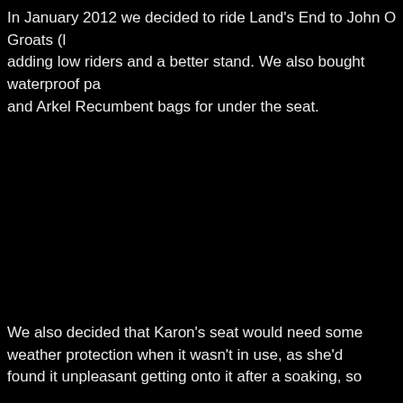In January 2012 we decided to ride Land's End to John O Groats (l... adding low riders and a better stand. We also bought waterproof pa... and Arkel Recumbent bags for under the seat.
We also decided that Karon's seat would need some weather protection when it wasn't in use, as she'd found it unpleasant getting onto it after a soaking, so